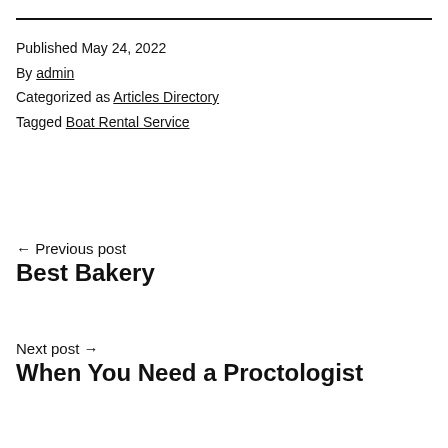Published May 24, 2022
By admin
Categorized as Articles Directory
Tagged Boat Rental Service
← Previous post
Best Bakery
Next post →
When You Need a Proctologist